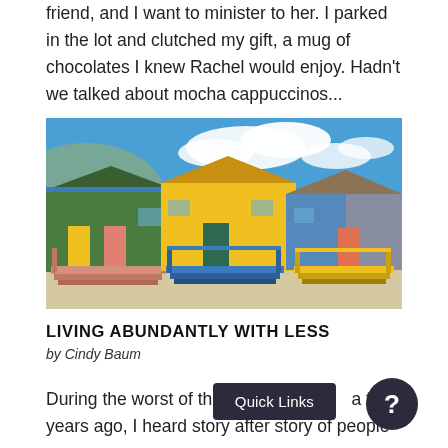friend, and I want to minister to her. I parked in the lot and clutched my gift, a mug of chocolates I knew Rachel would enjoy. Hadn't we talked about mocha cappuccinos...
[Figure (photo): Colorful beach huts with stairs/ramps in front, set against a blue sky with clouds. Three visible huts in green, yellow, and blue/gray colors.]
LIVING ABUNDANTLY WITH LESS
by Cindy Baum
During the worst of the econo... a few years ago, I heard story after story of people...